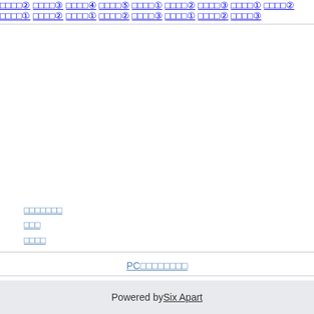□□□□②
□□□□③
□□□□④
□□□□⑤
□□□□①
□□□□②
□□□□③
□□□□①
□□□□②
□□□□①
□□□□②
□□□□①
□□□□②
□□□□③
□□□□①
□□□□②
□□□□③
□□□□□□□
□□□
□□□□
PC□□□□□□□□
Powered by Six Apart